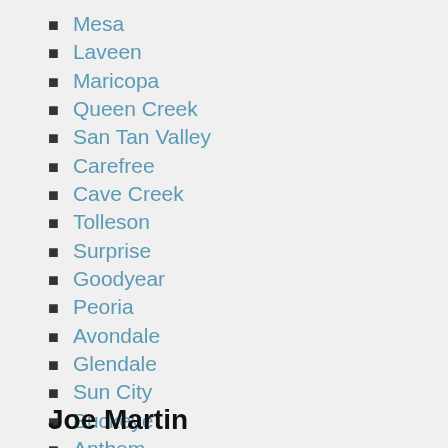Mesa
Laveen
Maricopa
Queen Creek
San Tan Valley
Carefree
Cave Creek
Tolleson
Surprise
Goodyear
Peoria
Avondale
Glendale
Sun City
Buckeye
Anthem
Joe Martin